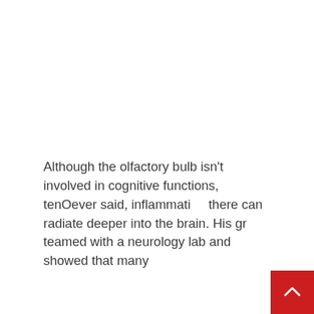Although the olfactory bulb isn't involved in cognitive functions, tenOever said, inflammation there can radiate deeper into the brain. His group teamed with a neurology lab and showed that many